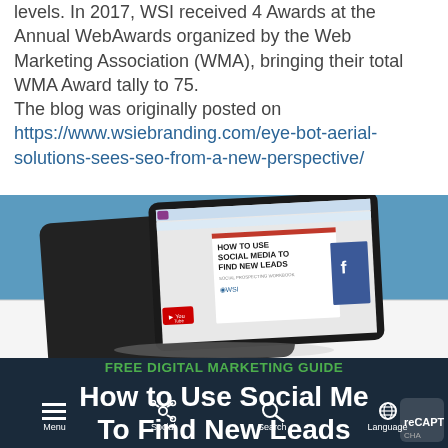levels. In 2017, WSI received 4 Awards at the Annual WebAwards organized by the Web Marketing Association (WMA), bringing their total WMA Award tally to 75.
The blog was originally posted on https://www.wsiebranding.com/eye-bot-aerial-solutions-sees-seo-from-a-new-perspective/
[Figure (screenshot): Tablet displaying 'How to Use Social Media to Find New Leads - Social Prospecting Workbook' by WSI, shown against a teal/blue background. Below the tablet section is white background.]
FREE DIGITAL MARKETING GUIDE
How to Use Social Media To Find New Leads